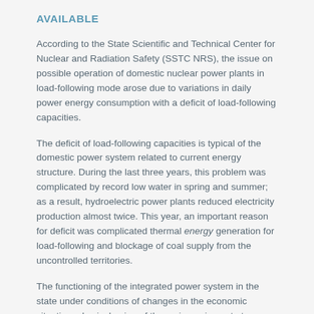AVAILABLE
According to the State Scientific and Technical Center for Nuclear and Radiation Safety (SSTC NRS), the issue on possible operation of domestic nuclear power plants in load-following mode arose due to variations in daily power energy consumption with a deficit of load-following capacities.
The deficit of load-following capacities is typical of the domestic power system related to current energy structure. During the last three years, this problem was complicated by record low water in spring and summer; as a result, hydroelectric power plants reduced electricity production almost twice. This year, an important reason for deficit was complicated thermal energy generation for load-following and blockage of coal supply from the uncontrolled territories.
The functioning of the integrated power system in the state under conditions of changes in the economic situation, physical aging of the main equipment at thermal stations, planned integration with the EU energy system and limited capacity of power supply lines raised a question on the